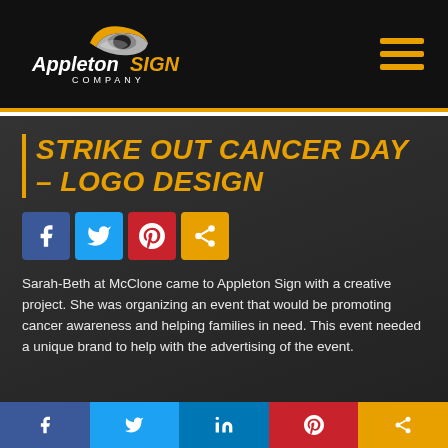[Figure (logo): Appleton Sign Company logo — stylized S emblem in gold and silver above white text 'Appleton' and gold 'SIGN', with 'COMPANY' in small white caps]
STRIKE OUT CANCER DAY – LOGO DESIGN
[Figure (infographic): Social share buttons: Facebook (blue), Twitter (light blue), Pinterest (red), Share (orange)]
Sarah-Beth at McClone came to Appleton Sign with a creative project. She was organizing an event that would be promoting cancer awareness and helping families in need. This event needed a unique brand to help with the advertising of the event.
Social footer bar with Facebook, Twitter, LinkedIn, Pinterest, Share icons